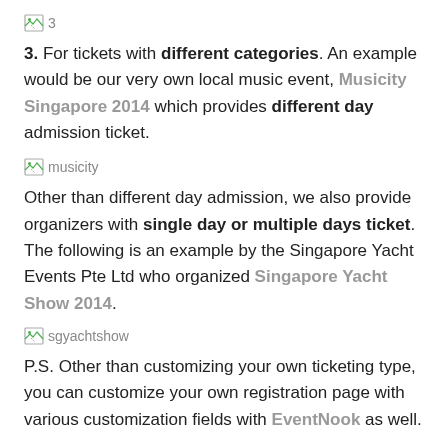[Figure (illustration): Broken image placeholder icon with label '3']
3. For tickets with different categories. An example would be our very own local music event, Musicity Singapore 2014 which provides different day admission ticket.
[Figure (illustration): Broken image placeholder icon with label 'musicity']
Other than different day admission, we also provide organizers with single day or multiple days ticket. The following is an example by the Singapore Yacht Events Pte Ltd who organized Singapore Yacht Show 2014.
[Figure (illustration): Broken image placeholder icon with label 'sgyachtshow']
P.S. Other than customizing your own ticketing type, you can customize your own registration page with various customization fields with EventNook as well.